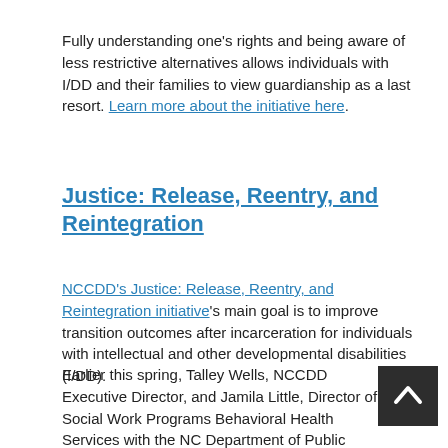Fully understanding one's rights and being aware of less restrictive alternatives allows individuals with I/DD and their families to view guardianship as a last resort. Learn more about the initiative here.
Justice: Release, Reentry, and Reintegration
NCCDD's Justice: Release, Reentry, and Reintegration initiative's main goal is to improve transition outcomes after incarceration for individuals with intellectual and other developmental disabilities (I/DD).
Earlier this spring, Talley Wells, NCCDD Executive Director, and Jamila Little, Director of Social Work Programs Behavioral Health Services with the NC Department of Public Safety, coordinated an online Developmental Disability Services 101 presentation for prison social workers. Presenters included NCCDD member Rhonda Goff and Department of Health and Human Services Assistant Secretary Angela Bryant.